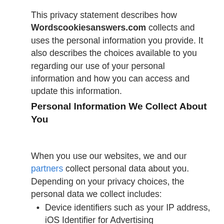This privacy statement describes how Wordscookiesanswers.com collects and uses the personal information you provide. It also describes the choices available to you regarding our use of your personal information and how you can access and update this information.
Personal Information We Collect About You
When you use our websites, we and our partners collect personal data about you. Depending on your privacy choices, the personal data we collect includes:
Device identifiers such as your IP address, iOS Identifier for Advertising